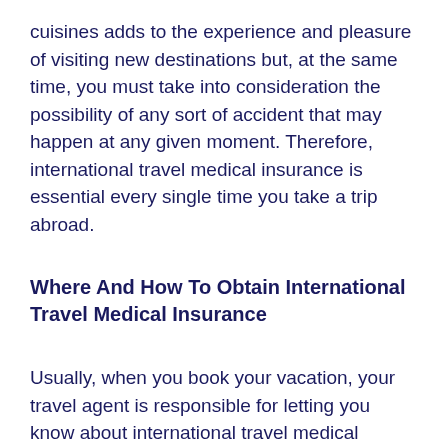cuisines adds to the experience and pleasure of visiting new destinations but, at the same time, you must take into consideration the possibility of any sort of accident that may happen at any given moment. Therefore, international travel medical insurance is essential every single time you take a trip abroad.
Where And How To Obtain International Travel Medical Insurance
Usually, when you book your vacation, your travel agent is responsible for letting you know about international travel medical insurance as well as its coverage and cost. All airlines expect you to have one as a requirement in order to be able to fly out of the